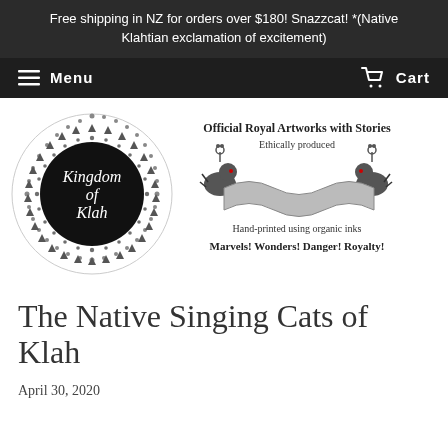Free shipping in NZ for orders over $180! Snazzcat! *(Native Klahtian exclamation of excitement)
Menu   Cart
[Figure (logo): Kingdom of Klah circular logo with black center and dotted/triangular decorative border in grey]
[Figure (logo): Official Royal Artworks with Stories badge. Ethically produced. Two bird/cat figures flanking a wavy banner. Hand-printed using organic inks. Marvels! Wonders! Danger! Royalty!]
The Native Singing Cats of Klah
April 30, 2020